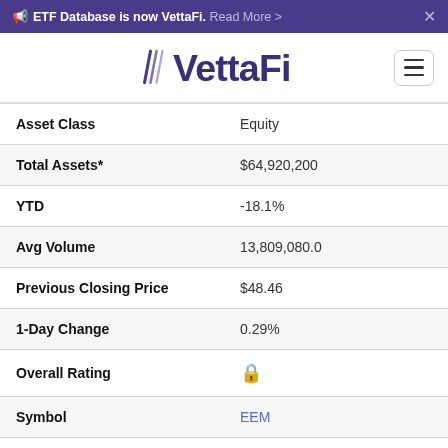ETF Database is now VettaFi. Read More > ×
[Figure (logo): VettaFi logo in purple with stylized W lettermark]
| Field | Value |
| --- | --- |
| Asset Class | Equity |
| Total Assets* | $64,920,200 |
| YTD | -18.1% |
| Avg Volume | 13,809,080.0 |
| Previous Closing Price | $48.46 |
| 1-Day Change | 0.29% |
| Overall Rating | 🔒 |
| Symbol | EEM |
| ETF Name | iShares MSCI Emerging Markets ETF |